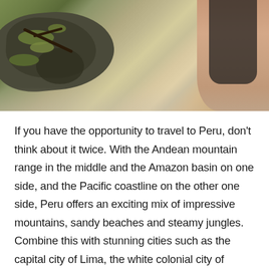[Figure (photo): Outdoor photo showing rocks with moss and what appears to be a person partially visible, set in a natural rocky landscape]
If you have the opportunity to travel to Peru, don't think about it twice. With the Andean mountain range in the middle and the Amazon basin on one side, and the Pacific coastline on the other one side, Peru offers an exciting mix of impressive mountains, sandy beaches and steamy jungles. Combine this with stunning cities such as the capital city of Lima, the white colonial city of Arequipa and the old Inca capital Cusco. From Machu Picchu to Chan Chan or Kuelap, from the Santa Catalina Convent and the Colca Canyon to the tomb of Lord Sipan, the Nazca Lines or Lake Titicaca… Add the rich colonial heritage, and here is your dream destinations–